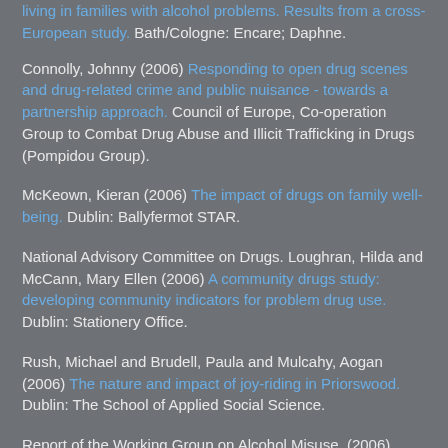living in families with alcohol problems. Results from a cross-European study. Bath/Cologne: Encare; Daphne.
Connolly, Johnny (2006) Responding to open drug scenes and drug-related crime and public nuisance - towards a partnership approach. Council of Europe, Co-operation Group to Combat Drug Abuse and Illicit Trafficking in Drugs (Pompidou Group).
McKeown, Kieran (2006) The impact of drugs on family well-being. Dublin: Ballyfermot STAR.
National Advisory Committee on Drugs. Loughran, Hilda and McCann, Mary Ellen (2006) A community drugs study: developing community indicators for problem drug use. Dublin: Stationery Office.
Rush, Michael and Brudell, Paula and Mulcahy, Aogan (2006) The nature and impact of joy-riding in Priorswood. Dublin: The School of Applied Social Science.
Report of the Working Group on Alcohol Misuse. (2006) gether to reduce the harms caused by alcohol misuse.